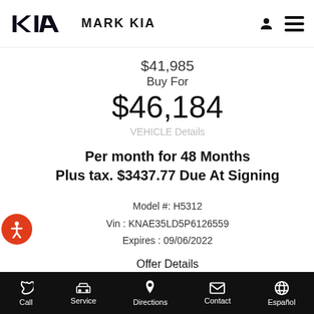MARK KIA
$41,985
Buy For
$46,184
VEHICLE Details
Per month for 48 Months Plus tax. $3437.77 Due At Signing
Model #: H5312
Vin : KNAE35LD5P6126559
Expires : 09/06/2022
Offer Details
Vehicle Details
Call  Service  Directions  Contact  Español